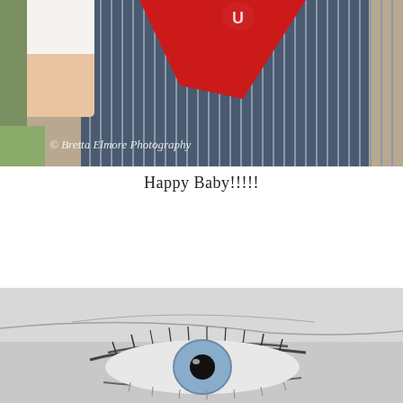[Figure (photo): Close-up color photo of a baby wearing a red bandana bib and striped overalls, photographed by Bretta Elmore Photography. Watermark text '© Bretta Elmore Photography' visible on image.]
Happy Baby!!!!!
[Figure (photo): Black and white close-up photo of a baby's eye with a blue iris, looking upward. The eye is in sharp focus against blurred skin tones.]